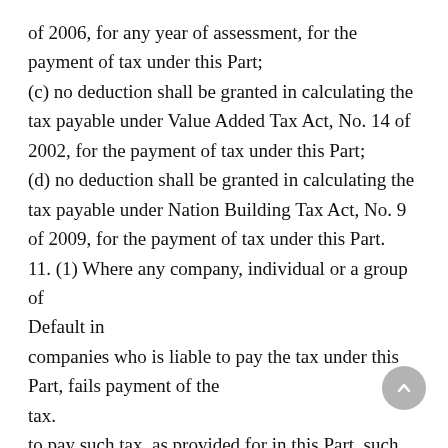of 2006, for any year of assessment, for the payment of tax under this Part; (c) no deduction shall be granted in calculating the tax payable under Value Added Tax Act, No. 14 of 2002, for the payment of tax under this Part; (d) no deduction shall be granted in calculating the tax payable under Nation Building Tax Act, No. 9 of 2009, for the payment of tax under this Part. 11. (1) Where any company, individual or a group of Default in companies who is liable to pay the tax under this Part, fails payment of the tax. to pay such tax, as provided for in this Part, such company, individual or group of companies shall be deemed to be a